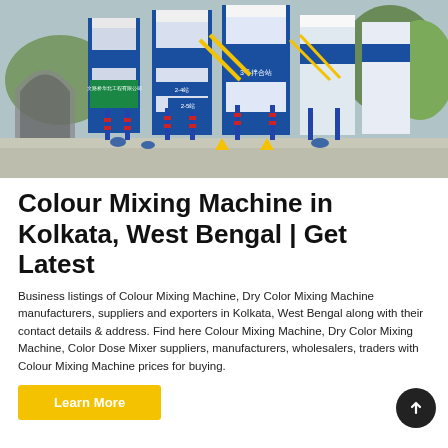[Figure (photo): Industrial concrete mixing plant with large blue and white silos, steel scaffolding, yellow pipes, Chinese text signage, and a concrete floor. A tunnel arch is visible in the background on the left.]
Colour Mixing Machine in Kolkata, West Bengal | Get Latest
Business listings of Colour Mixing Machine, Dry Color Mixing Machine manufacturers, suppliers and exporters in Kolkata, West Bengal along with their contact details & address. Find here Colour Mixing Machine, Dry Color Mixing Machine, Color Dose Mixer suppliers, manufacturers, wholesalers, traders with Colour Mixing Machine prices for buying.
Learn More